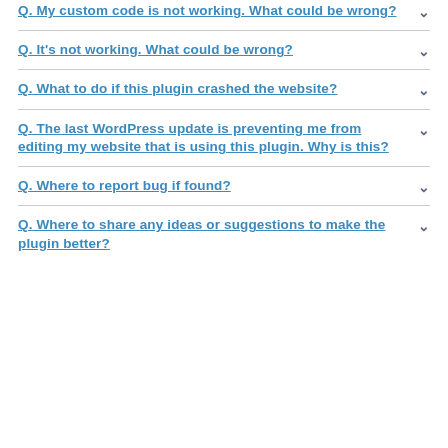Q. My custom code is not working. What could be wrong?
Q. It's not working. What could be wrong?
Q. What to do if this plugin crashed the website?
Q. The last WordPress update is preventing me from editing my website that is using this plugin. Why is this?
Q. Where to report bug if found?
Q. Where to share any ideas or suggestions to make the plugin better?